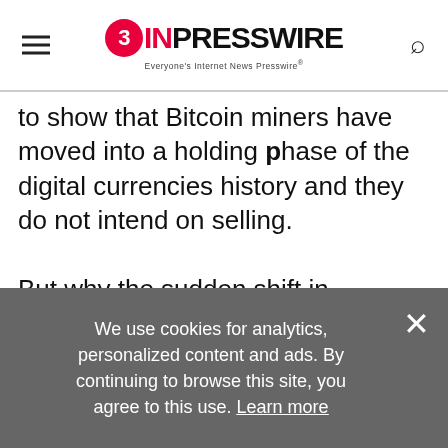EIN PRESSWIRE — Everyone's Internet News Presswire
to show that Bitcoin miners have moved into a holding phase of the digital currencies history and they do not intend on selling.

But why the sudden shift in perspective? With bitcoins, dominance stretching out across sectors and industries and a greater percentage of people requesting decentralized, open platforms for business, finance and commerce, Bitcoin has positioned itself as the number 1 trusted and backed
We use cookies for analytics, personalized content and ads. By continuing to browse this site, you agree to this use. Learn more